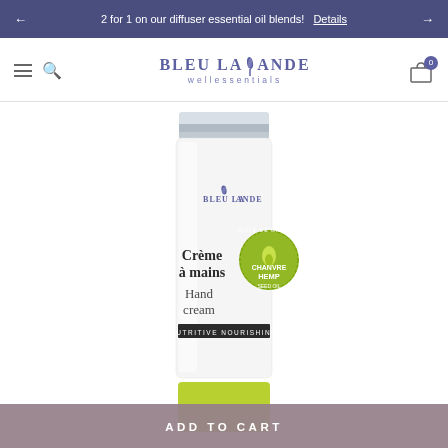2 for 1 on our diffuser essential oil blends! Details
[Figure (logo): Bleu Lavande wellessentials logo with lavender sprig]
[Figure (photo): Bleu Lavande hand cream tube product - white tube with silver cap, featuring Chanvre Hemp Seed Oil label, showing Crème à mains / Hand cream, Nutritive Nourishing]
ADD TO CART